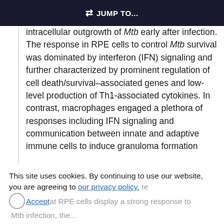JUMP TO...
intracellular outgrowth of Mtb early after infection. The response in RPE cells to control Mtb survival was dominated by interferon (IFN) signaling and further characterized by prominent regulation of cell death/survival–associated genes and low-level production of Th1-associated cytokines. In contrast, macrophages engaged a plethora of responses including IFN signaling and communication between innate and adaptive immune cells to induce granuloma formation
This site uses cookies. By continuing to use our website, you are agreeing to our privacy policy. Accept
at RPE cells display a strong response to Mtb infection, the...